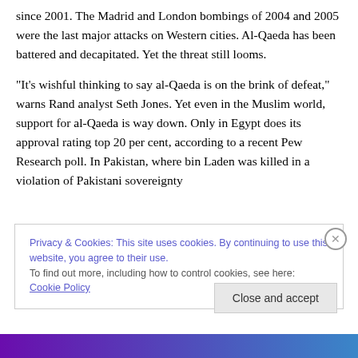since 2001. The Madrid and London bombings of 2004 and 2005 were the last major attacks on Western cities. Al-Qaeda has been battered and decapitated. Yet the threat still looms.
“It’s wishful thinking to say al-Qaeda is on the brink of defeat,” warns Rand analyst Seth Jones. Yet even in the Muslim world, support for al-Qaeda is way down. Only in Egypt does its approval rating top 20 per cent, according to a recent Pew Research poll. In Pakistan, where bin Laden was killed in a violation of Pakistani sovereignty
Privacy & Cookies: This site uses cookies. By continuing to use this website, you agree to their use.
To find out more, including how to control cookies, see here: Cookie Policy
Close and accept